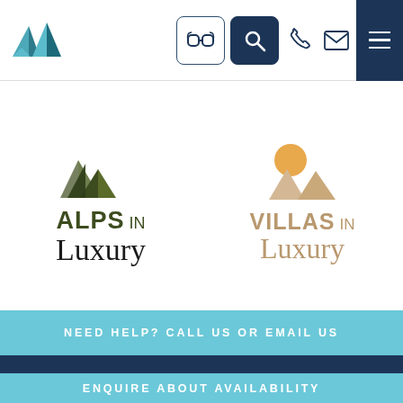[Figure (logo): Alps in Luxury website header with mountain logo, ski goggle icon, search icon, phone icon, email icon, and hamburger menu on dark navy background]
[Figure (logo): Alps in Luxury logo: green overlapping triangle mountain shapes above the text 'ALPS IN Luxury' in dark olive/green tones with script Luxury]
[Figure (logo): Villas in Luxury logo: orange sun and beige mountain shapes above the text 'VILLAS IN Luxury' in tan/gold tones with script Luxury]
NEED HELP? CALL US OR EMAIL US
ENQUIRE ABOUT AVAILABILITY